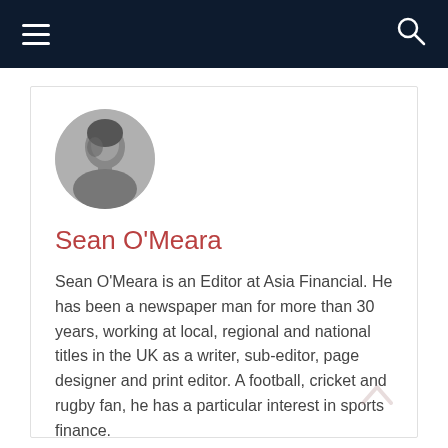Navigation bar with hamburger menu and search icon
[Figure (photo): Circular avatar photo of Sean O'Meara, black and white portrait]
Sean O'Meara
Sean O'Meara is an Editor at Asia Financial. He has been a newspaper man for more than 30 years, working at local, regional and national titles in the UK as a writer, sub-editor, page designer and print editor. A football, cricket and rugby fan, he has a particular interest in sports finance.